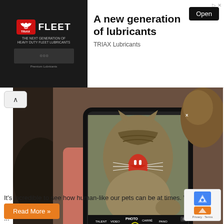[Figure (infographic): TRIAX Fleet lubricants advertisement banner with logo on left (dark background with TRIAX badge and FLEET text) and ad copy on right with Open button]
[Figure (photo): Person holding a smartphone showing a tabby cat with mouth open wide, being photographed. The live cat is visible in the background. Camera app interface visible on phone screen.]
It's incredible to see how human-like our pets can be at times. When people are ...
[Figure (other): Read More orange button and reCAPTCHA privacy widget in bottom right corner]